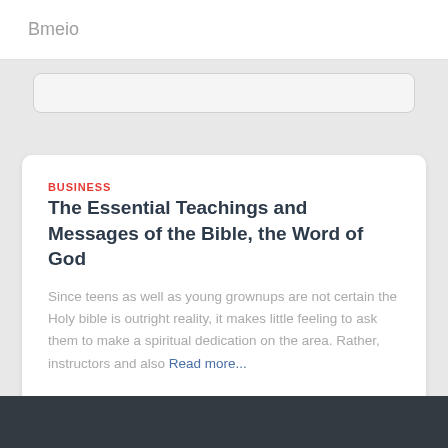Bmeio
BUSINESS
The Essential Teachings and Messages of the Bible, the Word of God
Since teens as well as young grownups are not certain the Holy bible is outright reality, it makes little feeling to ask them to make a spiritual dedication on the area. Rather, instructors and also Read more...